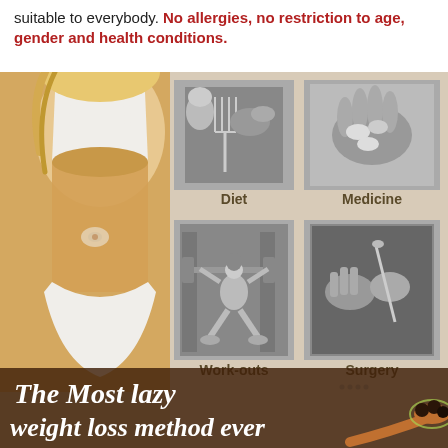suitable to everybody. No allergies, no restriction to age, gender and health conditions.
[Figure (infographic): Health/weight loss infographic showing a woman's midriff on the left, and four black-and-white photo panels on the right labeled Diet (fork/food), Medicine (pills in hand), Work-outs (woman lifting barbell), Surgery (hands in surgical setting). Bottom banner reads 'The Most lazy weight loss method ever' with a wooden spoon holding dark balls.]